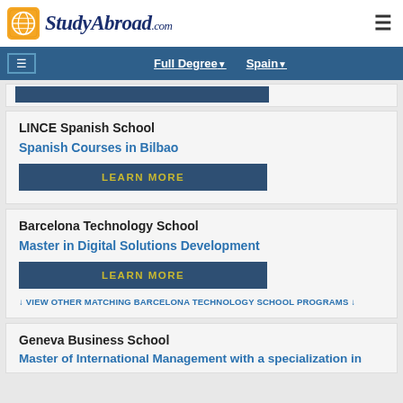StudyAbroad.com
Full Degree ▾  Spain ▾
LINCE Spanish School
Spanish Courses in Bilbao
LEARN MORE
Barcelona Technology School
Master in Digital Solutions Development
LEARN MORE
↓ VIEW OTHER MATCHING BARCELONA TECHNOLOGY SCHOOL PROGRAMS ↓
Geneva Business School
Master of International Management with a specialization in